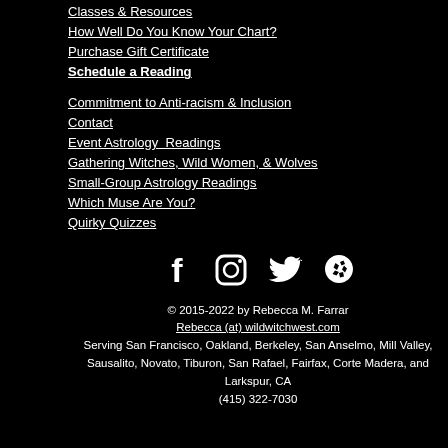Classes & Resources
How Well Do You Know Your Chart?
Purchase Gift Certificate
Schedule a Reading
Commitment to Anti-racism & Inclusion
Contact
Event Astrology  Readings
Gathering Witches, Wild Women, & Wolves
Small-Group Astrology Readings
Which Muse Are You?
Quirky Quizzes
[Figure (infographic): Social media icons: Facebook, Instagram, Twitter, Yelp]
© 2015-2022 by Rebecca M. Farrar
Rebecca (at) wildwitchwest.com
Serving San Francisco, Oakland, Berkeley, San Anselmo, Mill Valley, Sausalito, Novato, Tiburon, San Rafael, Fairfax, Corte Madera, and Larkspur, CA
(415) 322-7030